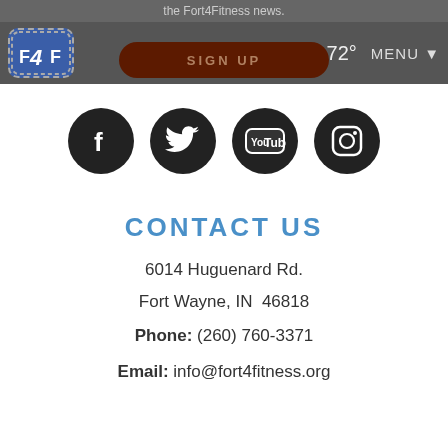the Fort4Fitness news.
[Figure (logo): F4F logo badge — blue rounded square with dashed border containing letters F 4 F]
72°
MENU ▼
SIGN UP
[Figure (other): Four social media icons (Facebook, Twitter, YouTube, Instagram) as white icons on dark circular backgrounds]
CONTACT US
6014 Huguenard Rd.
Fort Wayne, IN  46818
Phone: (260) 760-3371
Email: info@fort4fitness.org